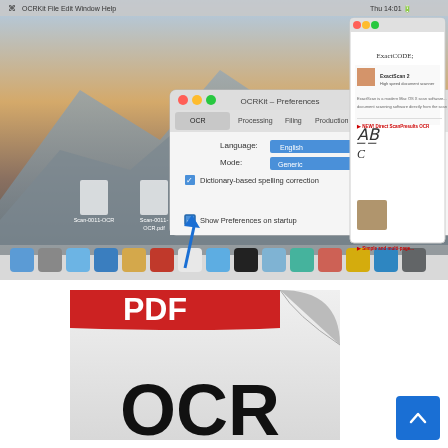[Figure (screenshot): Mac OS X desktop screenshot showing OCRKit Preferences window with Language: English, Mode: Generic, Dictionary-based spelling correction enabled, and Show Preferences on startup option highlighted with a blue arrow. Also visible is a PDF document preview showing ExactCODE ExactScan 2 software description. The Mac dock is visible at the bottom.]
[Figure (illustration): PDF file icon with red header tab showing 'PDF' in white text, and a curled page corner effect. Below the icon in large black bold text it shows 'OCR' partially visible at the bottom.]